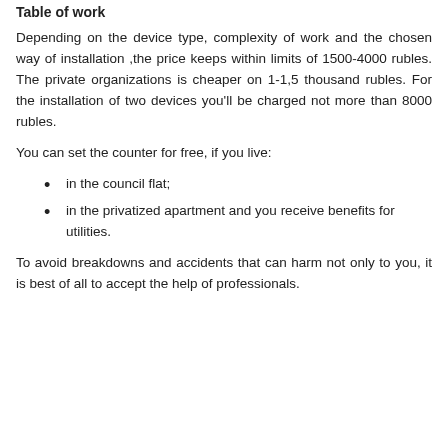Table of work
Depending on the device type, complexity of work and the chosen way of installation ,the price keeps within limits of 1500-4000 rubles. The private organizations is cheaper on 1-1,5 thousand rubles. For the installation of two devices you'll be charged not more than 8000 rubles.
You can set the counter for free, if you live:
in the council flat;
in the privatized apartment and you receive benefits for utilities.
To avoid breakdowns and accidents that can harm not only to you, it is best of all to accept the help of professionals.